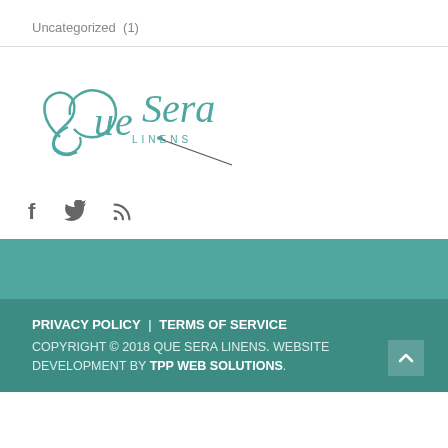Uncategorized  (1)
[Figure (logo): Que Sera Linens logo — decorative script text 'Que Sera' with 'LINENS' in small caps, and a sewing needle graphic, in teal color]
f  Twitter  RSS (social media icons)
PRIVACY POLICY | TERMS OF SERVICE
COPYRIGHT © 2018 QUE SERA LINENS. WEBSITE DEVELOPMENT BY TPP WEB SOLUTIONS.